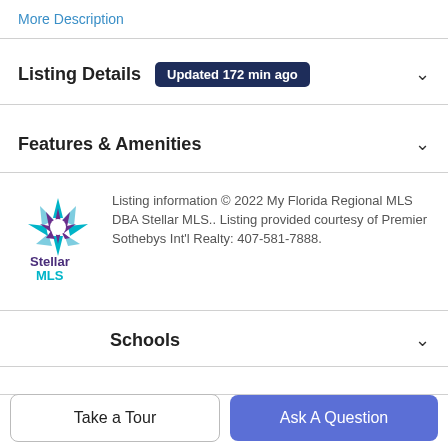More Description
Listing Details  Updated 172 min ago
Features & Amenities
Listing information © 2022 My Florida Regional MLS DBA Stellar MLS.. Listing provided courtesy of Premier Sothebys Int'l Realty: 407-581-7888.
Schools
Payment Calculator
Contact Agent
Take a Tour
Ask A Question